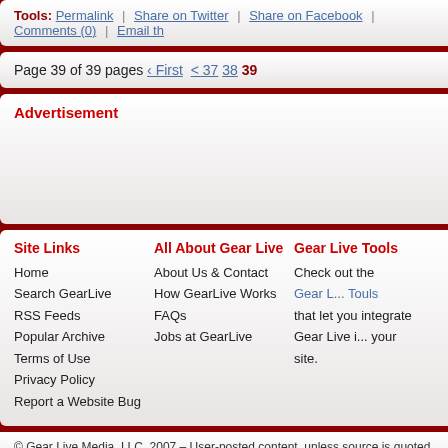Tools: Permalink | Share on Twitter | Share on Facebook | Comments (0) | Email th
Page 39 of 39 pages ‹ First < 37 38 39
Advertisement
Site Links
Home
Search GearLive
RSS Feeds
Popular Archive
Terms of Use
Privacy Policy
Report a Website Bug
All About Gear Live
About Us & Contact
How GearLive Works
FAQs
Jobs at GearLive
Gear Live Tools
Check out the Gear Live Touls that let you integrate Gear Live into your site.
© Gear Live Media, LLC. 2007 – User-posted content, unless source is quoted, is licens